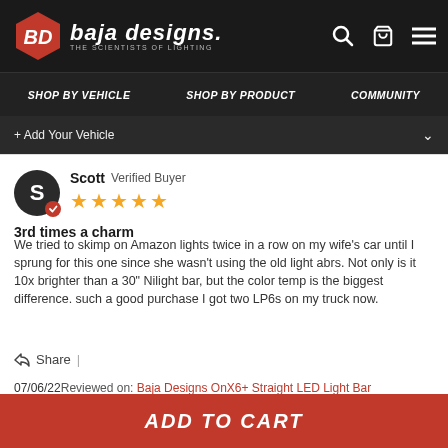Baja Designs — THE SCIENTISTS OF LIGHTING
SHOP BY VEHICLE | SHOP BY PRODUCT | COMMUNITY
+ Add Your Vehicle
Scott  Verified Buyer
★★★★★
3rd times a charm
We tried to skimp on Amazon lights twice in a row on my wife's car until I sprung for this one since she wasn't using the old light abrs. Not only is it 10x brighter than a 30" Nilight bar, but the color temp is the biggest difference. such a good purchase I got two LP6s on my truck now.
Share  |
07/06/22 Reviewed on:  Baja Designs OnX6+ Straight LED Light Bar